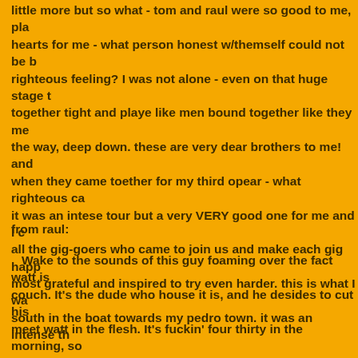little more but so what - tom and raul were so good to me, pla hearts for me - what person honest w/themself could not be b righteous feeling? I was not alone - even on that huge stage t together tight and playe like men bound together like they me the way, deep down. these are very dear brothers to me! and when they came toether for my third opear - what righteous ca it was an intese tour but a very VERY good one for me and I c all the gig-goers who came to join us and make each gig happ most grateful and inspired to try even harder. this is what I wa south in the boat towards my pedro town. it was an intense th
from raul:
Wake to the sounds of this guy foaming over the fact watt is couch. It's the dude who house it is, and he desides to cut his meet watt in the flesh. It's fuckin' four thirty in the morning, so hours. This man marcus cut his camping trip short, but not the he was three sheets to the wind. Eric had told us that marcus on a trip to the wilderness. Now marcus tells us he made the back home, what gives, it that a hellride for these dudes. Man once in the van. Also, as we leave, after all the foam is wiped marcus says "later bitches" as we back out the drive way. Ver have many laughs about this too. In seriousness though, than